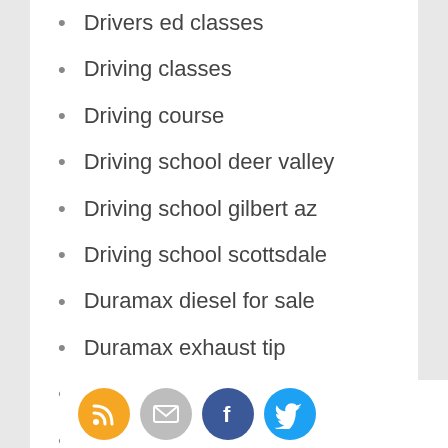Drivers ed classes
Driving classes
Driving course
Driving school deer valley
Driving school gilbert az
Driving school scottsdale
Duramax diesel for sale
Duramax exhaust tip
Duramax injectors
Dymetrol fabric
Dynamic message signs
Economic hyundai dealerships